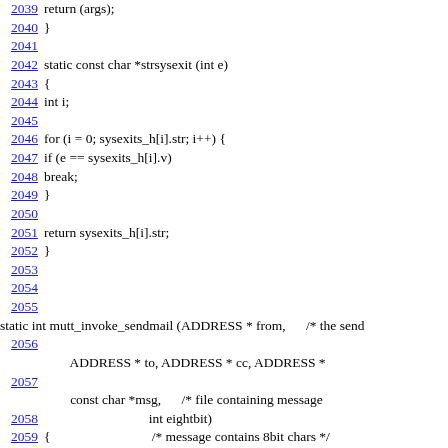2039  return (args);
2040 }
2041
2042 static const char *strsysexit (int e)
2043 {
2044   int i;
2045
2046   for (i = 0; sysexits_h[i].str; i++) {
2047     if (e == sysexits_h[i].v)
2048       break;
2049   }
2050
2051   return sysexits_h[i].str;
2052 }
2053
2054
2055
static int mutt_invoke_sendmail (ADDRESS * from,      /* the send
2056
ADDRESS * to, ADDRESS * cc, ADDRESS *
2057
const char *msg,      /* file containing message
2058                                int eightbit)
2059 {                              /* message contains 8bit chars */
2060
char *ps = NULL, *path = NULL, *s = NULL, *childout = NULL